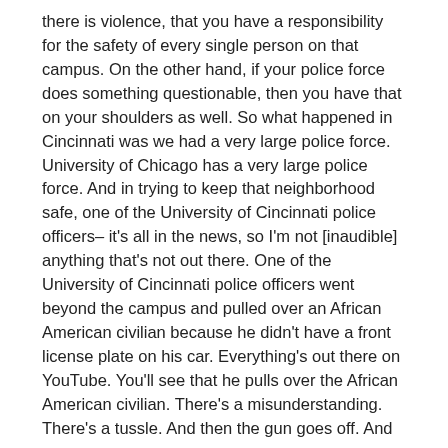there is violence, that you have a responsibility for the safety of every single person on that campus. On the other hand, if your police force does something questionable, then you have that on your shoulders as well. So what happened in Cincinnati was we had a very large police force. University of Chicago has a very large police force. And in trying to keep that neighborhood safe, one of the University of Cincinnati police officers– it's all in the news, so I'm not [inaudible] anything that's not out there. One of the University of Cincinnati police officers went beyond the campus and pulled over an African American civilian because he didn't have a front license plate on his car. Everything's out there on YouTube. You'll see that he pulls over the African American civilian. There's a misunderstanding. There's a tussle. And then the gun goes off. And the African American civilian dies.
So then what happens to the sense of inclusivity on that kind of campus, I can tell you that it took years, not only in that campus but at– but that campus being at the epicenter of racial tension – remember, this was at the heart of Black